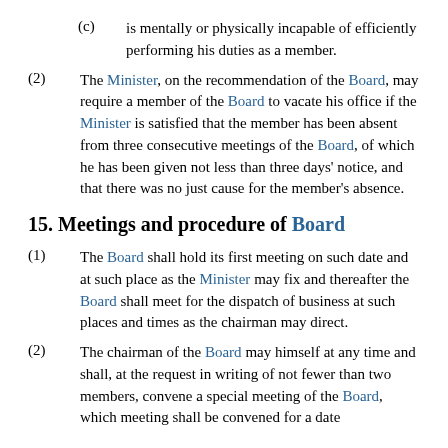(c) is mentally or physically incapable of efficiently performing his duties as a member.
(2) The Minister, on the recommendation of the Board, may require a member of the Board to vacate his office if the Minister is satisfied that the member has been absent from three consecutive meetings of the Board, of which he has been given not less than three days' notice, and that there was no just cause for the member's absence.
15. Meetings and procedure of Board
(1) The Board shall hold its first meeting on such date and at such place as the Minister may fix and thereafter the Board shall meet for the dispatch of business at such places and times as the chairman may direct.
(2) The chairman of the Board may himself at any time and shall, at the request in writing of not fewer than two members, convene a special meeting of the Board, which meeting shall be convened for a date